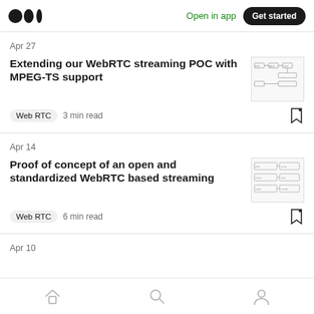Medium — Open in app  Get started
Apr 27
Extending our WebRTC streaming POC with MPEG-TS support
Web RTC  3 min read
[Figure (screenshot): Thumbnail diagram of WebRTC streaming pipeline with boxes and arrows]
Apr 14
Proof of concept of an open and standardized WebRTC based streaming
Web RTC  6 min read
[Figure (screenshot): Thumbnail diagram of WebRTC architecture with boxes and connections]
Apr 10